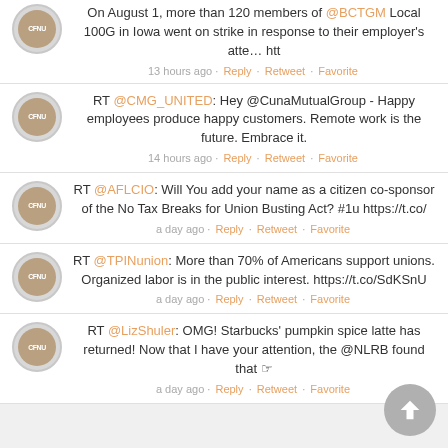On August 1, more than 120 members of @BCTGM Local 100G in Iowa went on strike in response to their employer's atte… htt
13 hours ago · Reply · Retweet · Favorite
RT @CMG_UNITED: Hey @CunaMutualGroup - Happy employees produce happy customers. Remote work is the future. Embrace it.
14 hours ago · Reply · Retweet · Favorite
RT @AFLCIO: Will You add your name as a citizen co-sponsor of the No Tax Breaks for Union Busting Act? #1u https://t.co/
a day ago · Reply · Retweet · Favorite
RT @TPINunion: More than 70% of Americans support unions. Organized labor is in the public interest. https://t.co/SdKSnU
a day ago · Reply · Retweet · Favorite
RT @LizShuler: OMG! Starbucks' pumpkin spice latte has returned! Now that I have your attention, the @NLRB found that ☞
a day ago · Reply · Retweet · Favorite